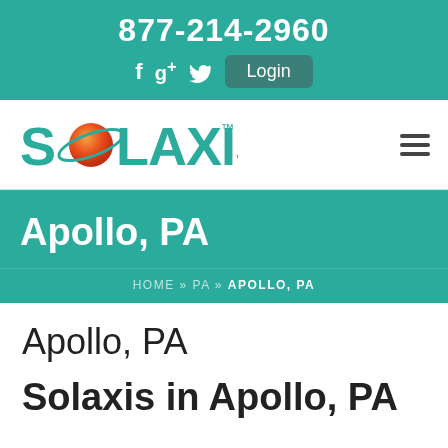877-214-2960
[Figure (screenshot): Social media icons: Facebook (f), Google+ (g+), Twitter (bird icon), and a Login button on teal background]
[Figure (logo): Solaxis logo with orange planet/orbit graphic replacing the O, teal text reading SOLAXIS with TM mark]
Apollo, PA
HOME » PA » APOLLO, PA
Apollo, PA
Solaxis in Apollo, PA